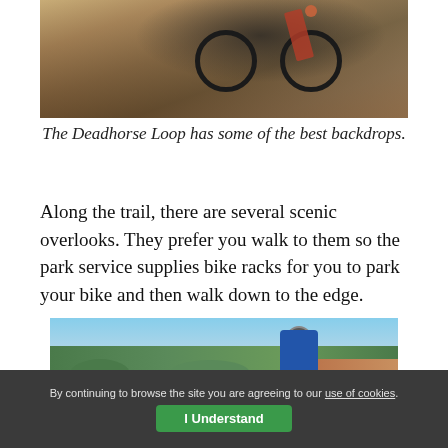[Figure (photo): A mountain biker riding over rocky terrain with dry brush and red rock landscape in the background.]
The Deadhorse Loop has some of the best backdrops.
Along the trail, there are several scenic overlooks. They prefer you walk to them so the park service supplies bike racks for you to park your bike and then walk down to the edge.
[Figure (photo): A cyclist in a blue jersey and helmet standing at a scenic overlook with desert landscape and blue sky in the background.]
By continuing to browse the site you are agreeing to our use of cookies. I Understand